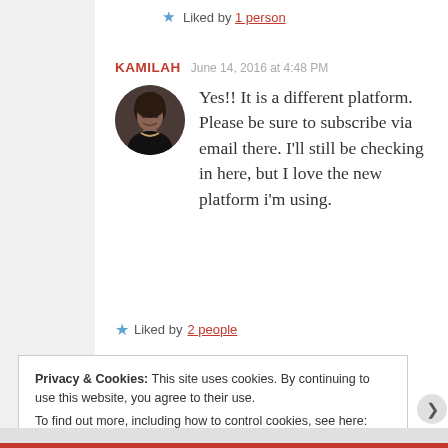★ Liked by 1 person
KAMILAH  June 14, 2016 at 4:48 PM
[Figure (photo): Circular avatar photo of a woman (Kamilah) with dark hair, wearing a black top and necklace, against a dark background.]
Yes!! It is a different platform. Please be sure to subscribe via email there. I'll still be checking in here, but I love the new platform i'm using.
★ Liked by 2 people
Privacy & Cookies: This site uses cookies. By continuing to use this website, you agree to their use. To find out more, including how to control cookies, see here: Cookie Policy
Close and accept